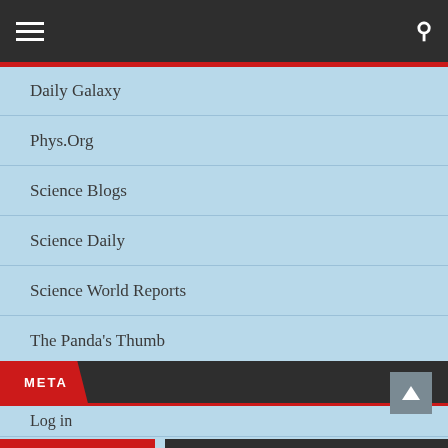Daily Galaxy
Phys.Org
Science Blogs
Science Daily
Science World Reports
The Panda's Thumb
META
Log in
Entries feed
Comments feed
WordPress.org